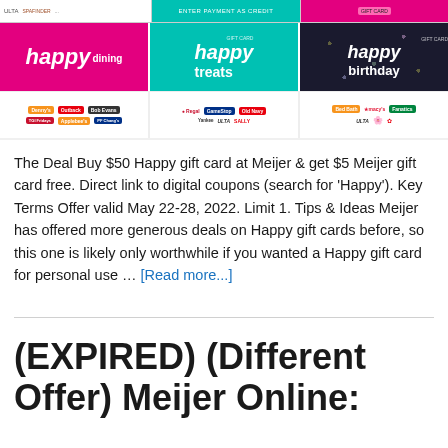[Figure (photo): Three Happy gift cards shown: Happy Dining (pink/magenta), Happy Treats (teal), and Happy Birthday (dark with confetti). Below each card are rows of retailer logos including GameStop, Regal, Old Navy, Macy's, ULTA, Sally Beauty and others.]
The Deal Buy $50 Happy gift card at Meijer & get $5 Meijer gift card free. Direct link to digital coupons (search for 'Happy'). Key Terms Offer valid May 22-28, 2022. Limit 1. Tips & Ideas Meijer has offered more generous deals on Happy gift cards before, so this one is likely only worthwhile if you wanted a Happy gift card for personal use … [Read more...]
(EXPIRED) (Different Offer) Meijer Online: